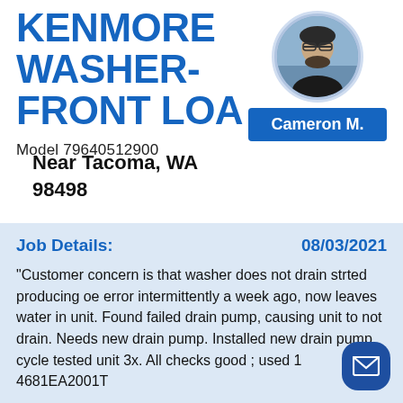KENMORE WASHER-FRONT LOA
Model 79640512900
[Figure (photo): Circular avatar photo of Cameron M., a man with glasses and a beard wearing a dark shirt, with a blue sky/water background]
Cameron M.
Near Tacoma, WA
98498
Job Details:
08/03/2021
"Customer concern is that washer does not drain strted producing oe error intermittently a week ago, now leaves water in unit. Found failed drain pump, causing unit to not drain. Needs new drain pump. Installed new drain pump, cycle tested unit 3x. All checks good ; used 1 4681EA2001T